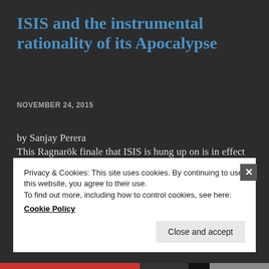ISIS and the instrumental rationality of its Apocalypse
NOVEMBER 24, 2015
by Sanjay Perera
This Ragnarök finale that ISIS is hung up on is in effect exemplary in its utilitarian approach of the ends justifies the means thinking that underlies the rationality of its Apocalypse. Continue reading
Privacy & Cookies: This site uses cookies. By continuing to use this website, you agree to their use.
To find out more, including how to control cookies, see here:
Cookie Policy
Close and accept